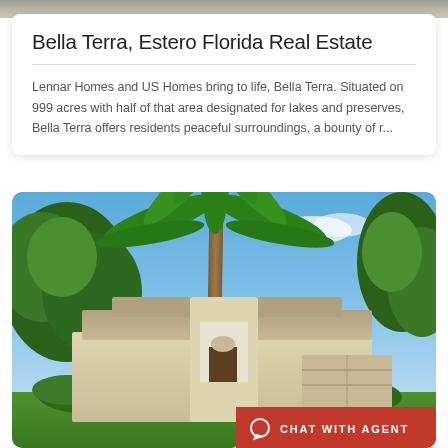[Figure (photo): Partial view of a gray-toned landscape/aerial image at the top of the page]
Bella Terra, Estero Florida Real Estate
Lennar Homes and US Homes bring to life, Bella Terra. Situated on 999 acres with half of that area designated for lakes and preserves, Bella Terra offers residents peaceful surroundings, a bounty of r...
[Figure (photo): Florida residential home with palm trees, lush landscaping, arched entrance, two-car garage, and paver driveway under a blue sky. A red 'Chat with Agent' button appears in the bottom right corner.]